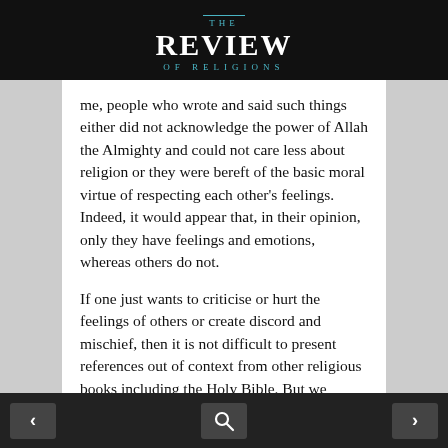THE REVIEW OF RELIGIONS
me, people who wrote and said such things either did not acknowledge the power of Allah the Almighty and could not care less about religion or they were bereft of the basic moral virtue of respecting each other's feelings. Indeed, it would appear that, in their opinion, only they have feelings and emotions, whereas others do not.
If one just wants to criticise or hurt the feelings of others or create discord and mischief, then it is not difficult to present references out of context from other religious books including the Holy Bible. But we consider such references either to apply to
◂  🔍  ▸